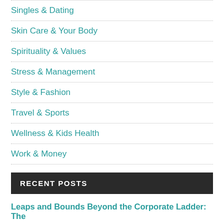Singles & Dating
Skin Care & Your Body
Spirituality & Values
Stress & Management
Style & Fashion
Travel & Sports
Wellness & Kids Health
Work & Money
RECENT POSTS
Leaps and Bounds Beyond the Corporate Ladder: The